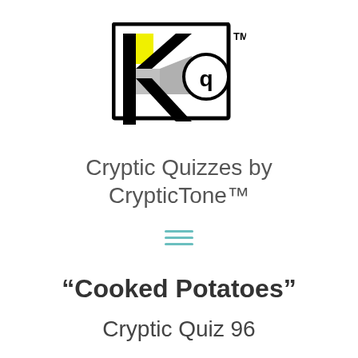[Figure (logo): CrypticTone logo: a stylized letter K shape in black outline with yellow square accent and gray ribbon element, with the letter 'q' in a circle on the right side, and 'TM' superscript in the top right corner.]
Cryptic Quizzes by CrypticTone™
[Figure (other): Hamburger menu icon made of three horizontal teal/cyan lines]
“Cooked Potatoes”
Cryptic Quiz 96